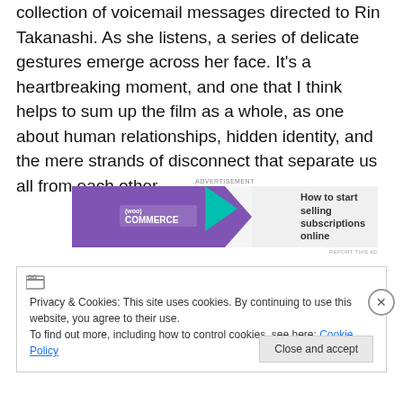collection of voicemail messages directed to Rin Takanashi. As she listens, a series of delicate gestures emerge across her face. It's a heartbreaking moment, and one that I think helps to sum up the film as a whole, as one about human relationships, hidden identity, and the mere strands of disconnect that separate us all from each other.
[Figure (other): WooCommerce advertisement banner: purple background with WooCommerce logo, teal arrow, text 'How to start selling subscriptions online', orange and blue leaf decorations]
Privacy & Cookies: This site uses cookies. By continuing to use this website, you agree to their use.
To find out more, including how to control cookies, see here: Cookie Policy